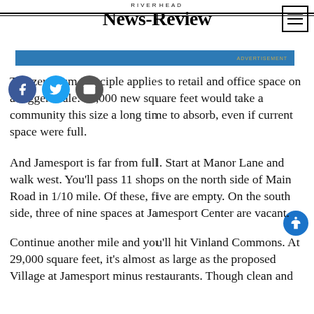RIVERHEAD NEWS-REVIEW
The zero-sum principle applies to retail and office space on a bigger scale: 34,000 new square feet would take a community this size a long time to absorb, even if current space were full.
And Jamesport is far from full. Start at Manor Lane and walk west. You’ll pass 11 shops on the north side of Main Road in 1/10 mile. Of these, five are empty. On the south side, three of nine spaces at Jamesport Center are vacant.
Continue another mile and you’ll hit Vinland Commons. At 29,000 square feet, it’s almost as large as the proposed Village at Jamesport minus restaurants. Though clean and